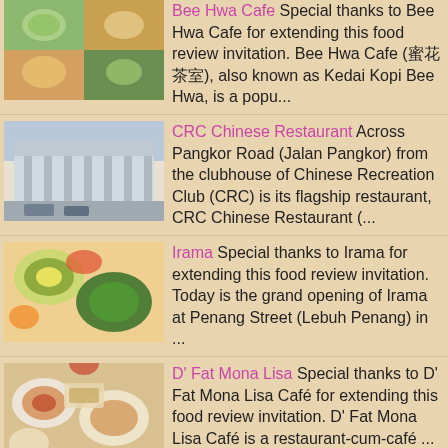Bee Hwa Cafe Special thanks to Bee Hwa Cafe for extending this food review invitation. Bee Hwa Cafe (蜜花茶室), also known as Kedai Kopi Bee Hwa, is a popu...
CRC Chinese Restaurant Across Pangkor Road (Jalan Pangkor) from the clubhouse of Chinese Recreation Club (CRC) is its flagship restaurant, CRC Chinese Restaurant (...
Irama Special thanks to Irama for extending this food review invitation. Today is the grand opening of Irama at Penang Street (Lebuh Penang) in ...
D' Fat Mona Lisa Special thanks to D' Fat Mona Lisa Café for extending this food review invitation. D' Fat Mona Lisa Café is a restaurant-cum-café ...
Restoran Pen Mutiara Restoran & Hotel Pen Mutiara is a restaurant-cum-hotel in Batu Maung. It is located within the same compound as Lembaga Kemajuan Ikan Ma...
Siam Road Char Koay Teow The famous Siam Road